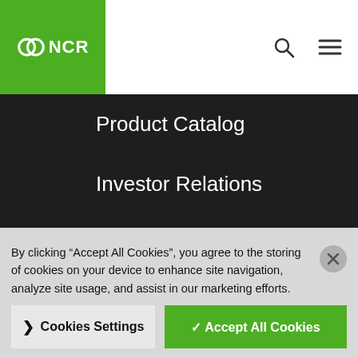[Figure (logo): NCR logo with green background box and white interconnected circle icon, white NCR text]
Product Catalog
Investor Relations
News
Locations
NCR Privacy Policy
Do Not Sell My Information
By clicking “Accept All Cookies”, you agree to the storing of cookies on your device to enhance site navigation, analyze site usage, and assist in our marketing efforts.
Cookies Settings
✓ Accept All Cookies